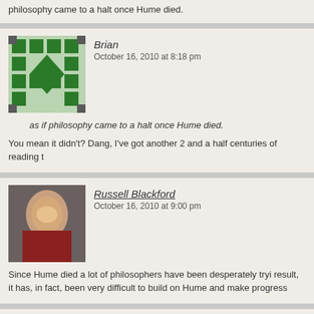philosophy came to a halt once Hume died.
Brian
October 16, 2010 at 8:18 pm
as if philosophy came to a halt once Hume died.
You mean it didn't? Dang, I've got another 2 and a half centuries of reading t
Russell Blackford
October 16, 2010 at 9:00 pm
Since Hume died a lot of philosophers have been desperately tryi result, it has, in fact, been very difficult to build on Hume and make progress
Sean
October 16, 2010 at 9:14 pm
My comment at HuffPo got screened. *eyeroll*